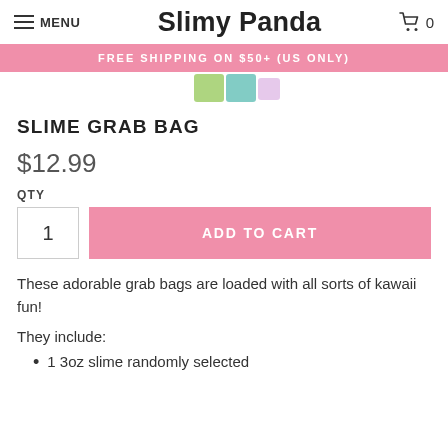MENU | Slimy Panda | 0
FREE SHIPPING ON $50+ (US ONLY)
SLIME GRAB BAG
$12.99
QTY
1  ADD TO CART
These adorable grab bags are loaded with all sorts of kawaii fun!
They include:
1 3oz slime randomly selected